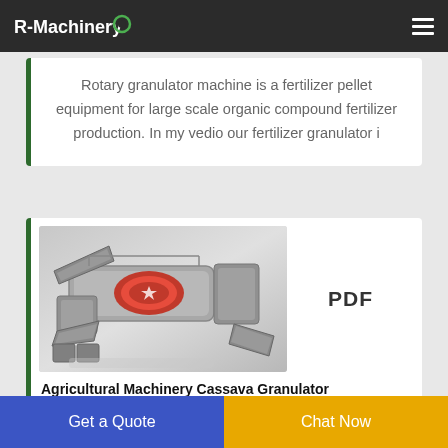R-Machinery
Rotary granulator machine is a fertilizer pellet equipment for large scale organic compound fertilizer production. In my vedio our fertilizer granulator i
[Figure (photo): 3D render of an agricultural machinery cassava granulator machine, shown in grey metallic and red components with conveyor belt]
PDF
Agricultural Machinery Cassava Granulator
Get a Quote
Chat Now